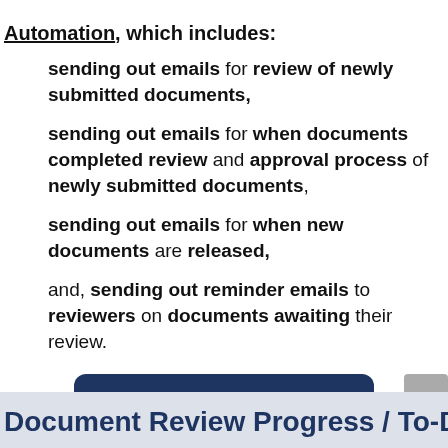Automation, which includes:
sending out emails for review of newly submitted documents,
sending out emails for when documents completed review and approval process of newly submitted documents,
sending out emails for when new documents are released,
and, sending out reminder emails to reviewers on documents awaiting their review.
CLICK HERE FOR DETAILS
Document Review Progress / To-Do-List